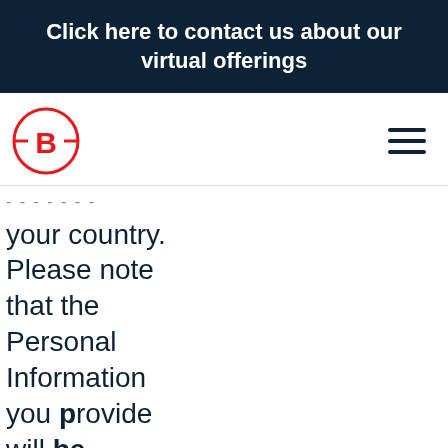Click here to contact us about our virtual offerings
[Figure (logo): Circular logo with letter B inside, red outline, with horizontal lines through the circle on both sides of the B.]
...lands of your country. Please note that the Personal Information you provide will be transferred to the United States, and to other countries